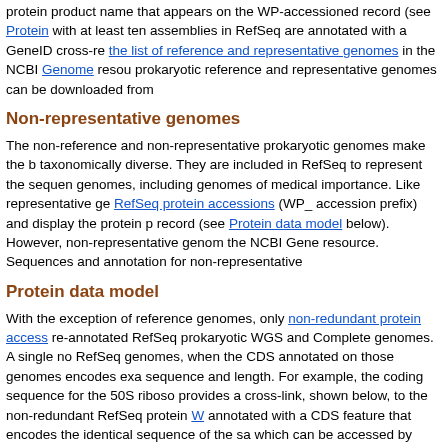protein product name that appears on the WP-accessioned record (see Protein data model with at least ten assemblies in RefSeq are annotated with a GeneID cross-reference in the list of reference and representative genomes in the NCBI Genome resource. prokaryotic reference and representative genomes can be downloaded from
Non-representative genomes
The non-reference and non-representative prokaryotic genomes make the bulk of the most taxonomically diverse. They are included in RefSeq to represent the sequence diversity of genomes, including genomes of medical importance. Like representative genomes, they have RefSeq protein accessions (WP_ accession prefix) and display the protein product name on the record (see Protein data model below). However, non-representative genomes are not linked to the NCBI Gene resource. Sequences and annotation for non-representative
Protein data model
With the exception of reference genomes, only non-redundant protein accessions are used for re-annotated RefSeq prokaryotic WGS and Complete genomes. A single non-redundant protein RefSeq genomes, when the CDS annotated on those genomes encodes exactly the same amino acid sequence and length. For example, the coding sequence for the 50S ribosomal protein L2 provides a cross-link, shown below, to the non-redundant RefSeq protein WP_... annotated with a CDS feature that encodes the identical sequence of the same length, which can be accessed by clicking on the "Identical Proteins" link near the top
CDS	1..426
/locus_tag="MY9_RS00665"
/old_locus_tag="MY9_0102"